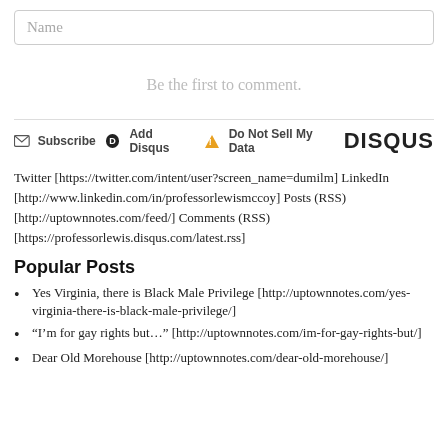Name
Be the first to comment.
Subscribe  Add Disqus  Do Not Sell My Data  DISQUS
Twitter [https://twitter.com/intent/user?screen_name=dumilm] LinkedIn [http://www.linkedin.com/in/professorlewismccoy] Posts (RSS) [http://uptownnotes.com/feed/] Comments (RSS) [https://professorlewis.disqus.com/latest.rss]
Popular Posts
Yes Virginia, there is Black Male Privilege [http://uptownnotes.com/yes-virginia-there-is-black-male-privilege/]
“I’m for gay rights but…” [http://uptownnotes.com/im-for-gay-rights-but/]
Dear Old Morehouse [http://uptownnotes.com/dear-old-morehouse/]